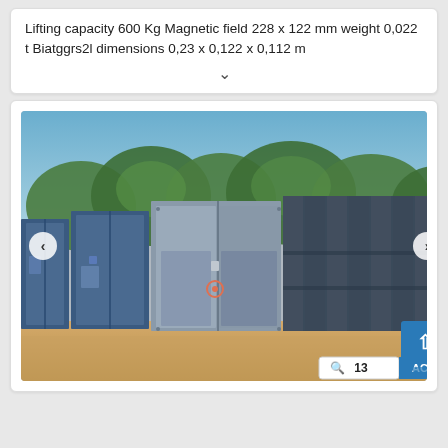Lifting capacity 600 Kg Magnetic field 228 x 122 mm weight 0,022 t Biatggrs2l dimensions 0,23 x 0,122 x 0,112 m
[Figure (photo): Outdoor photo showing several large industrial storage containers or electrical enclosures (blue and grey colored) arranged on sandy ground with trees and blue sky in the background. Navigation arrows (< >) visible on left and right sides of the image.]